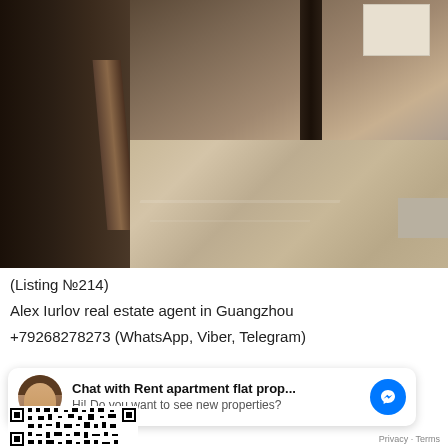[Figure (photo): Interior photo of an apartment hallway/entrance with dark wooden door on the left, marble-patterned floor, and a corridor leading into the background. Dark vertical element visible in the background.]
(Listing №214)
Alex Iurlov real estate agent in Guangzhou
+79268278273 (WhatsApp, Viber, Telegram)
[Figure (screenshot): Facebook Messenger chat widget showing avatar of a man, title 'Chat with Rent apartment flat prop...' and subtitle 'Hi! Do you want to see new properties?' with a blue Messenger icon button.]
[Figure (other): QR code (partially visible at bottom)]
Privacy · Terms